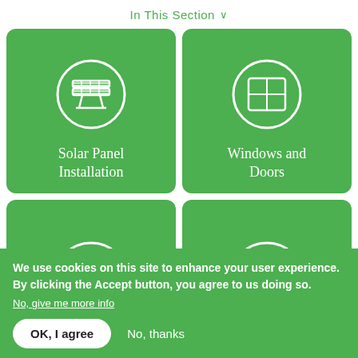In This Section ∨
[Figure (infographic): Green card with solar panel icon in white circle, label: Solar Panel Installation]
[Figure (infographic): Green card with window/door icon in white circle, label: Windows and Doors]
[Figure (infographic): Green card with heating radiator icon in white circle, label: Heating and]
[Figure (infographic): Green card with house+sun icon in white circle, label: Roofing and]
We use cookies on this site to enhance your user experience. By clicking the Accept button, you agree to us doing so.
No, give me more info
OK, I agree
No, thanks